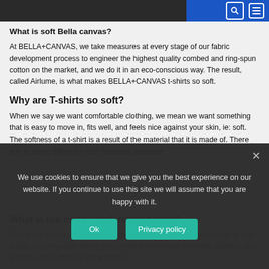Navigation bar with search and menu icons
What is soft Bella canvas?
At BELLA+CANVAS, we take measures at every stage of our fabric development process to engineer the highest quality combed and ring-spun cotton on the market, and we do it in an eco-conscious way. The result, called Airlume, is what makes BELLA+CANVAS t-shirts so soft.
Why are T-shirts so soft?
When we say we want comfortable clothing, we mean we want something that is easy to move in, fits well, and feels nice against your skin, ie: soft. The softness of a t-shirt is a result of the material that it is made of. There are so many different t-shirt materials available.
What is the most comfortable t-shirt?
One of the common blends for t-shirts is a 50/50 blend that consists of both cotton and polyester. When you combine cotton and polyester together, you get the super softness of the cotton...
We use cookies to ensure that we give you the best experience on our website. If you continue to use this site we will assume that you are happy with it.